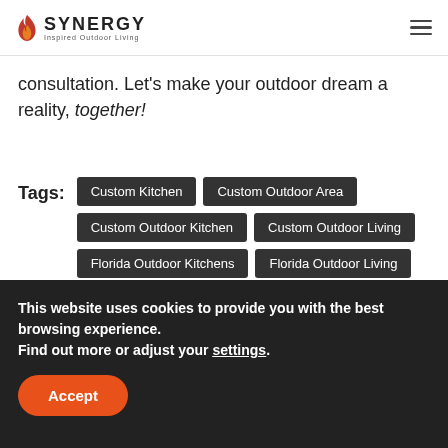SYNERGY Inspired Outdoor Living
consultation. Let’s make your outdoor dream a reality, together!
Tags: Custom Kitchen | Custom Outdoor Area | Custom Outdoor Kitchen | Custom Outdoor Living | Florida Outdoor Kitchens | Florida Outdoor Living | Grilling | Outdoor Kitchen | Outdoor Kitchens | Synergy Outdoor Living
This website uses cookies to provide you with the best browsing experience. Find out more or adjust your settings.